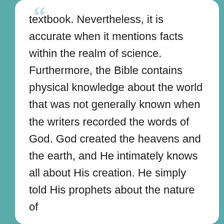textbook. Nevertheless, it is accurate when it mentions facts within the realm of science. Furthermore, the Bible contains physical knowledge about the world that was not generally known when the writers recorded the words of God. God created the heavens and the earth, and He intimately knows all about His creation. He simply told His prophets about the nature of